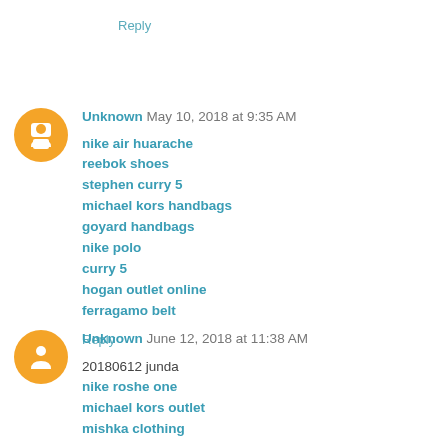Reply
Unknown  May 10, 2018 at 9:35 AM
nike air huarache
reebok shoes
stephen curry 5
michael kors handbags
goyard handbags
nike polo
curry 5
hogan outlet online
ferragamo belt
Reply
Unknown  June 12, 2018 at 11:38 AM
20180612 junda
nike roshe one
michael kors outlet
mishka clothing